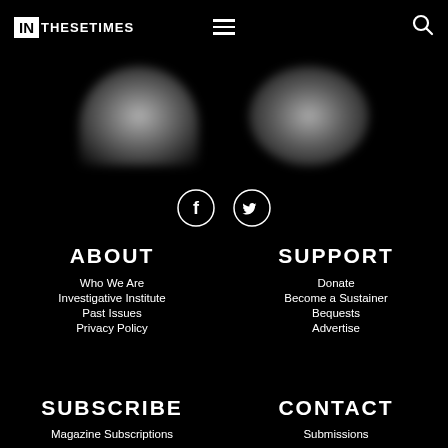IN THESE TIMES
[Figure (photo): Two blurred circular/oval shapes on black background, resembling out-of-focus portrait photos]
[Figure (illustration): Facebook and Twitter social media icons (circle outlines with white logos) on black background]
ABOUT
Who We Are
Investigative Institute
Past Issues
Privacy Policy
SUPPORT
Donate
Become a Sustainer
Bequests
Advertise
SUBSCRIBE
Magazine Subscriptions
CONTACT
Submissions